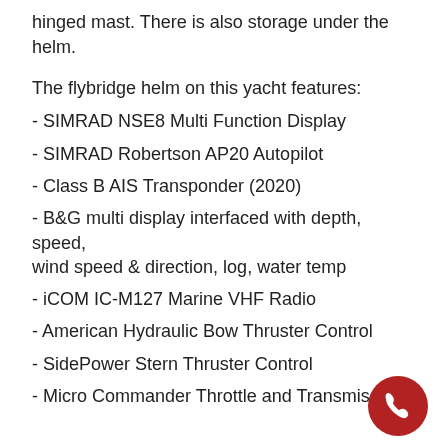hinged mast. There is also storage under the helm.
The flybridge helm on this yacht features:
- SIMRAD NSE8 Multi Function Display
- SIMRAD Robertson AP20 Autopilot
- Class B AIS Transponder (2020)
- B&G multi display interfaced with depth, speed, wind speed & direction, log, water temp
- iCOM IC-M127 Marine VHF Radio
- American Hydraulic Bow Thruster Control
- SidePower Stern Thruster Control
- Micro Commander Throttle and Transmission